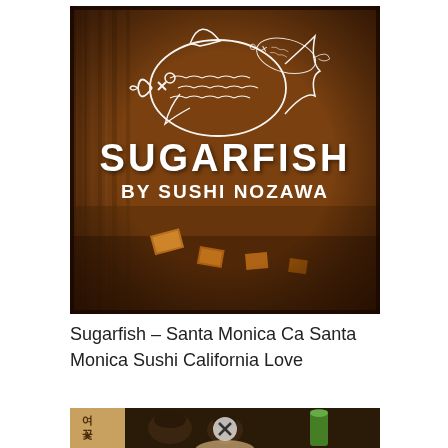[Figure (photo): Photo of the Sugarfish by Sushi Nozawa restaurant sign — a white illustrated fish outline with X for eye, displayed on a warm brown wood interior background with text 'SUGARFISH BY SUSHI NOZAWA'. The image has a vignette/retro filter effect with dark edges.]
Sugarfish – Santa Monica Ca Santa Monica Sushi California Love
[Figure (photo): Partial photo showing Japanese sake cups and green glass drinks on a table, with a label/book visible on the left side. Image is partially cut off at the bottom of the page.]